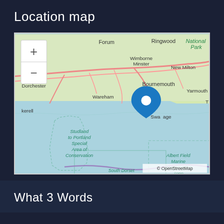Location map
[Figure (map): OpenStreetMap showing the Swanage area on the south coast of England, with a blue location pin marker. Shows towns including Dorchester, Wareham, Wimborne Minster, Bournemouth, New Milton, Yarmouth, and Swanage. Marine conservation zones visible: Studland to Portland Special Area of Conservation, Albert Field Marine Conservation Zone, South Dorset Marine Conservation Zone. Map zoom controls (+/-) in top-left corner. Attribution: © OpenStreetMap]
What 3 Words